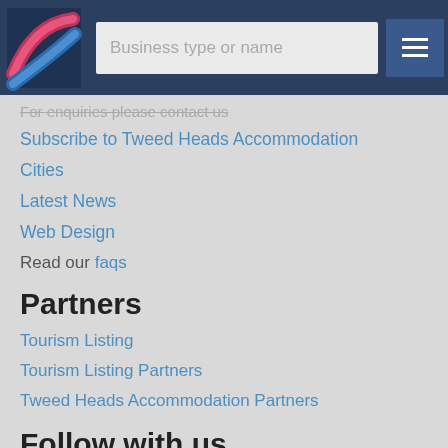[Figure (logo): Colorful logo with pink/red and blue swooshes on dark navy background]
Business type or name [search box] ≡ [menu button]
For enquiries please contact us
Subscribe to Tweed Heads Accommodation
Cities
Latest News
Web Design
Read our faqs
Partners
Tourism Listing
Tourism Listing Partners
Tweed Heads Accommodation Partners
Follow with us
Join the thousands of other businesses